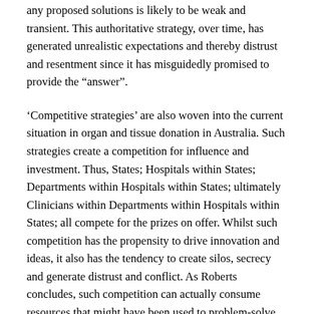any proposed solutions is likely to be weak and transient. This authoritative strategy, over time, has generated unrealistic expectations and thereby distrust and resentment since it has misguidedly promised to provide the “answer”.
‘Competitive strategies’ are also woven into the current situation in organ and tissue donation in Australia. Such strategies create a competition for influence and investment. Thus, States; Hospitals within States; Departments within Hospitals within States; ultimately Clinicians within Departments within Hospitals within States; all compete for the prizes on offer. Whilst such competition has the propensity to drive innovation and ideas, it also has the tendency to create silos, secrecy and generate distrust and conflict. As Roberts concludes, such competition can actually consume resources that might have been used to problem-solve